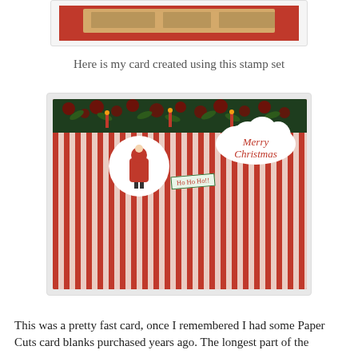[Figure (photo): Partial image of a stamp set product on a red background, cropped at top of page]
Here is my card created using this stamp set
[Figure (photo): A handmade Christmas card with red background, holly-patterned top strip, red and white vertical stripes, a white cloud shape with 'Merry Christmas' text, a Santa silhouette circle, a 'Ho Ho Ho!!' tag, and three circles at the bottom with candy canes, a Christmas ornament, and a bow. Labeled 'Created by Mary R.' with a binder ring and green/blue dots at the bottom.]
This was a pretty fast card, once I remembered I had some Paper Cuts card blanks purchased years ago. The longest part of the